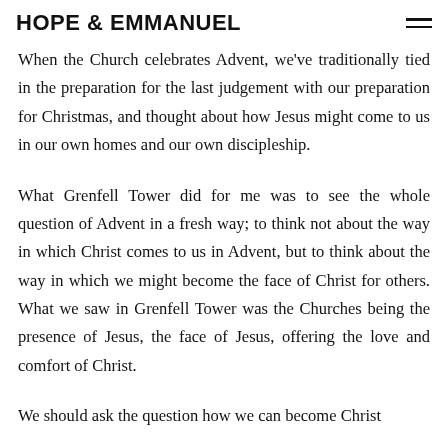HOPE & EMMANUEL
When the Church celebrates Advent, we've traditionally tied in the preparation for the last judgement with our preparation for Christmas, and thought about how Jesus might come to us in our own homes and our own discipleship.
What Grenfell Tower did for me was to see the whole question of Advent in a fresh way; to think not about the way in which Christ comes to us in Advent, but to think about the way in which we might become the face of Christ for others. What we saw in Grenfell Tower was the Churches being the presence of Jesus, the face of Jesus, offering the love and comfort of Christ.
We should ask the question how we can become Christ